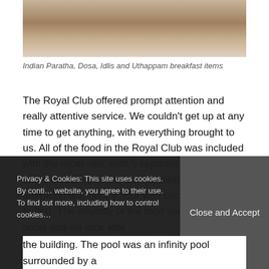[Figure (photo): Photo of Indian breakfast food items on a plate]
Indian Paratha, Dosa, Idlis and Uthappam breakfast items
The Royal Club offered prompt attention and really attentive service. We couldn't get up at any time to get anything, with everything brought to us. All of the food in the Royal Club was included with the room rate, with 5 separate food offerings and menu themes per day (breakfast, lunch, afternoon tea, happy hour with cocktails, dessert buffet). The majority of the food was made to order and we took little
Privacy & Cookies: This site uses cookies. By continuing to use this website, you agree to their use. To find out more, including how to control cookies,
Close and Accept
the building. The pool was an infinity pool surrounded by a